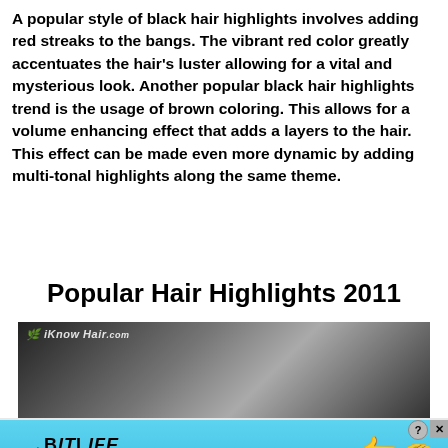A popular style of black hair highlights involves adding red streaks to the bangs. The vibrant red color greatly accentuates the hair's luster allowing for a vital and mysterious look. Another popular black hair highlights trend is the usage of brown coloring. This allows for a volume enhancing effect that adds a layers to the hair. This effect can be made even more dynamic by adding multi-tonal highlights along the same theme.
Popular Hair Highlights 2011
[Figure (photo): A black and white photo of hair, watermarked with iKnowHair.com logo]
[Figure (infographic): BitLife advertisement banner with 'NOW WITH GOD MODE' text, pointing hand graphics, and cyan/blue background]